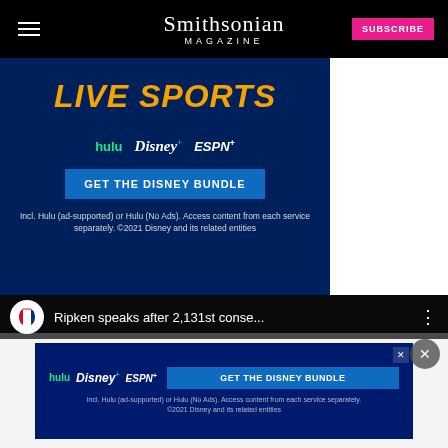Smithsonian Magazine — SUBSCRIBE
[Figure (photo): Disney Bundle advertisement showing LIVE SPORTS text in orange, Hulu + Disney+ + ESPN+ logos, GET THE DISNEY BUNDLE button, fine print about Hulu ad-supported and no-ads options. Blue background with decorative stripe at bottom.]
Report an ad
[Figure (screenshot): Embedded YouTube-style video player showing MLB logo and title 'Ripken speaks after 2,131st conse...' with three-dot menu. Dark video frame with close X button.]
Report an ad
[Figure (photo): Small Disney Bundle advertisement banner: Hulu + Disney+ + ESPN+ logos, GET THE DISNEY BUNDLE button, fine print. Dark blue background with X close button.]